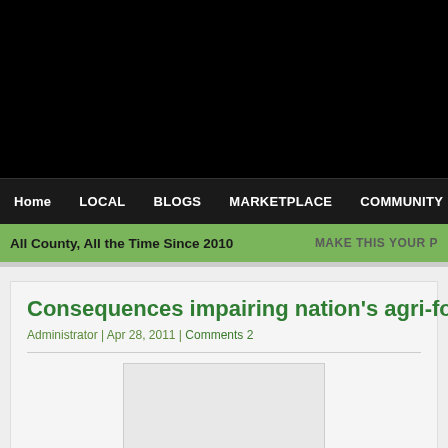[Figure (screenshot): Black header area of a website]
Home | LOCAL | BLOGS | MARKETPLACE | COMMUNITY | ABOUT
All County, All the Time Since 2010 | MAKE THIS YOUR P
Consequences impairing nation’s agri-food indus…
Administrator | Apr 28, 2011 | Comments 2